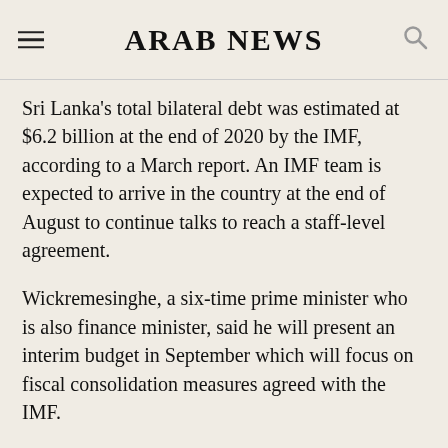ARAB NEWS
Sri Lanka’s total bilateral debt was estimated at $6.2 billion at the end of 2020 by the IMF, according to a March report. An IMF team is expected to arrive in the country at the end of August to continue talks to reach a staff-level agreement.
Wickremesinghe, a six-time prime minister who is also finance minister, said he will present an interim budget in September which will focus on fiscal consolidation measures agreed with the IMF.
Expenditure will be slashed by a “few hundred billions” of rupees to channels funds for welfare